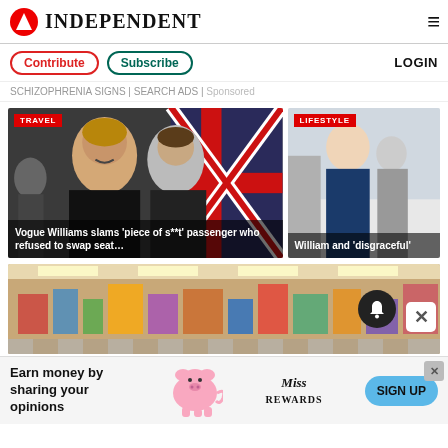INDEPENDENT
Contribute | Subscribe | LOGIN
SCHIZOPHRENIA SIGNS | SEARCH ADS | Sponsored
[Figure (photo): Vogue Williams and Spencer Matthews smiling in front of a Union Jack backdrop, tagged TRAVEL]
Vogue Williams slams 'piece of s**t' passenger who refused to swap seat…
[Figure (photo): William in a crowd at an event, tagged LIFESTYLE]
William and 'disgraceful'
[Figure (photo): Interior of a large busy store/market]
[Figure (infographic): Advertisement banner: Earn money by sharing your opinions – Miss Rewards SIGN UP]